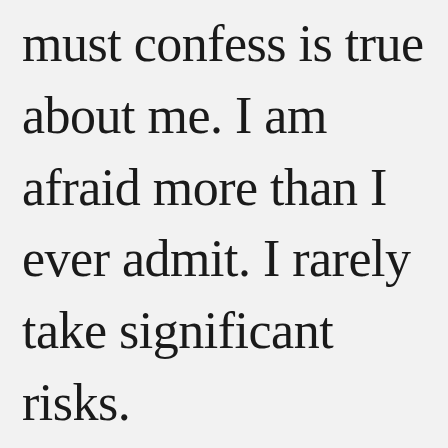must confess is true about me. I am afraid more than I ever admit. I rarely take significant risks.